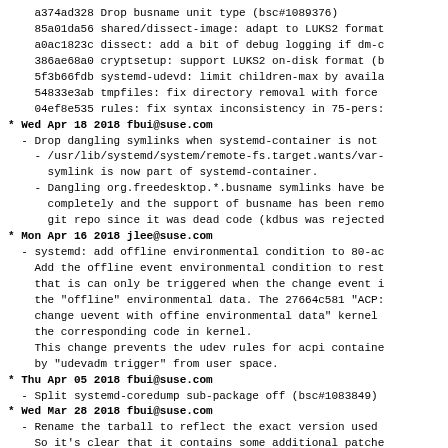a374ad328 Drop busname unit type (bsc#1089376)
85a01da56 shared/dissect-image: adapt to LUKS2 format
a0ac1823c dissect: add a bit of debug logging if dm-c
386ae68a0 cryptsetup: support LUKS2 on-disk format (b
5f3b66fdb systemd-udevd: limit children-max by availa
54833e3ab tmpfiles: fix directory removal with force
04ef8e535 rules: fix syntax inconsistency in 75-pers:
* Wed Apr 18 2018 fbui@suse.com
- Drop dangling symlinks when systemd-container is not
  - /usr/lib/systemd/system/remote-fs.target.wants/var-
    symlink is now part of systemd-container.
  - Dangling org.freedesktop.*.busname symlinks have be
    completely and the support of busname has been remo
    git repo since it was dead code (kdbus was rejected
* Mon Apr 16 2018 jlee@suse.com
- systemd: add offline environmental condition to 80-ac
  Add the offline event environmental condition to rest
  that is can only be triggered when the change event i
  the "offline" environmental data. The 27664c581 "ACP:
  change uevent with offine environmental data" kernel
  the corresponding code in kernel.
  This change prevents the udev rules for acpi containe
  by "udevadm trigger" from user space.
* Thu Apr 05 2018 fbui@suse.com
- Split systemd-coredump sub-package off (bsc#1083849)
* Wed Mar 28 2018 fbui@suse.com
- Rename the tarball to reflect the exact version used
  So it's clear that it contains some additional patche
  upstream version. Use the commit hash in the name so
  version can easily be identified.